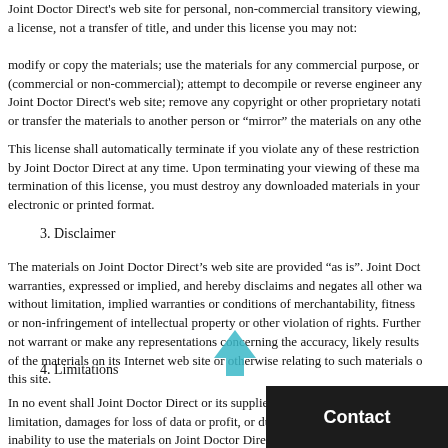Joint Doctor Direct's web site for personal, non-commercial transitory viewing, a license, not a transfer of title, and under this license you may not:
modify or copy the materials; use the materials for any commercial purpose, or (commercial or non-commercial); attempt to decompile or reverse engineer any Joint Doctor Direct's web site; remove any copyright or other proprietary notati or transfer the materials to another person or “mirror” the materials on any othe
This license shall automatically terminate if you violate any of these restriction by Joint Doctor Direct at any time. Upon terminating your viewing of these ma termination of this license, you must destroy any downloaded materials in your electronic or printed format.
3. Disclaimer
The materials on Joint Doctor Direct’s web site are provided “as is”. Joint Doct warranties, expressed or implied, and hereby disclaims and negates all other wa without limitation, implied warranties or conditions of merchantability, fitness or non-infringement of intellectual property or other violation of rights. Further not warrant or make any representations concerning the accuracy, likely results of the materials on its Internet web site or otherwise relating to such materials o this site.
4. Limitations
In no event shall Joint Doctor Direct or its suppliers be liable for any damages ( limitation, damages for loss of data or profit, or due to business interruption,) a inability to use the materials on Joint Doctor Direct's even if Joint Doctor Direct authorized representative has been no n writing.